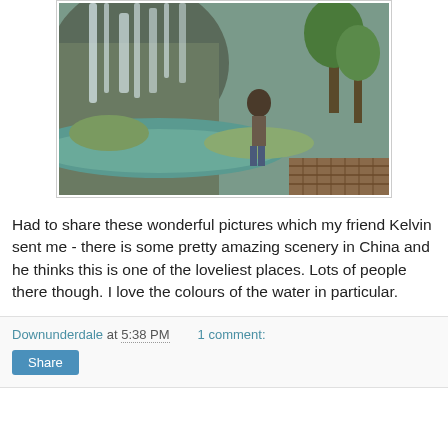[Figure (photo): Man standing in front of a scenic waterfall and turquoise water landscape in China, with trees and a wooden walkway in the background]
Had to share these wonderful pictures which my friend Kelvin sent me - there is some pretty amazing scenery in China and he thinks this is one of the loveliest places. Lots of people there though. I love the colours of the water in particular.
Downunderdale at 5:38 PM    1 comment: